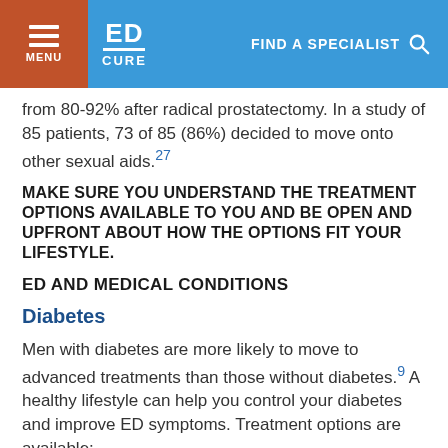MENU | ED CURE | FIND A SPECIALIST
from 80-92% after radical prostatectomy. In a study of 85 patients, 73 of 85 (86%) decided to move onto other sexual aids.27
MAKE SURE YOU UNDERSTAND THE TREATMENT OPTIONS AVAILABLE TO YOU AND BE OPEN AND UPFRONT ABOUT HOW THE OPTIONS FIT YOUR LIFESTYLE.
ED AND MEDICAL CONDITIONS
Diabetes
Men with diabetes are more likely to move to advanced treatments than those without diabetes.9 A healthy lifestyle can help you control your diabetes and improve ED symptoms. Treatment options are available: